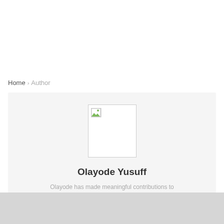Home › Author
[Figure (photo): Author profile image placeholder (broken image icon) inside a white bordered box on a light grey card background]
Olayode Yusuff
Olayode has made meaningful contributions to affiliate programs and has been active in numerous...